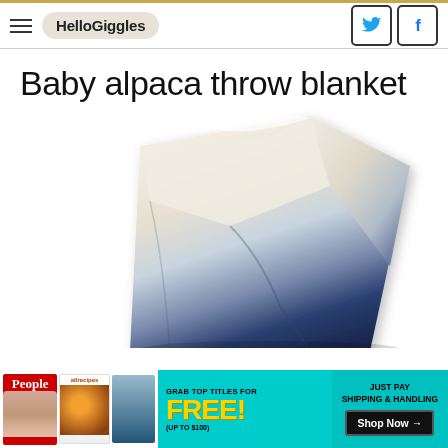HelloGiggles
Baby alpaca throw blanket
[Figure (photo): A baby alpaca throw blanket displayed folded/draped, showing an ombre gradient from cream/white at the top to deep navy blue at the bottom]
[Figure (infographic): Advertisement banner: Grab Top Titles for FREE! (up to $100) Just Pay Shipping & Handling. Shop Now →. Features magazine covers for People, allrecipes, and a third magazine.]